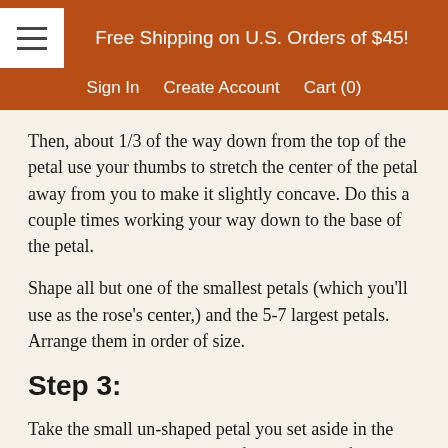Free Shipping on U.S. Orders of $45! Sign In  Create Account  Cart (0)
Then, about 1/3 of the way down from the top of the petal use your thumbs to stretch the center of the petal away from you to make it slightly concave.  Do this a couple times working your way down to the base of the petal.
Shape all but one of the smallest petals (which you'll use as the rose's center,) and the 5-7 largest petals. Arrange them in order of size.
Step 3:
Take the small un-shaped petal you set aside in the last step, and glue one edge of it to the top of the dowel.  Let the petal extend past the tip by about 2 inches.  Wrap it all